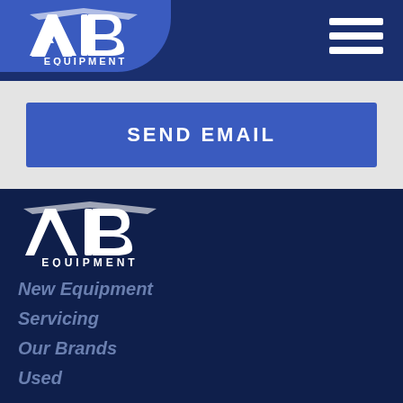[Figure (logo): AB Equipment logo in header - white logo on blue background with rounded tab]
[Figure (logo): Hamburger/menu icon - three white horizontal bars on dark navy background]
SEND EMAIL
[Figure (logo): AB Equipment logo in footer - white logo on dark navy background]
New Equipment
Servicing
Our Brands
Used